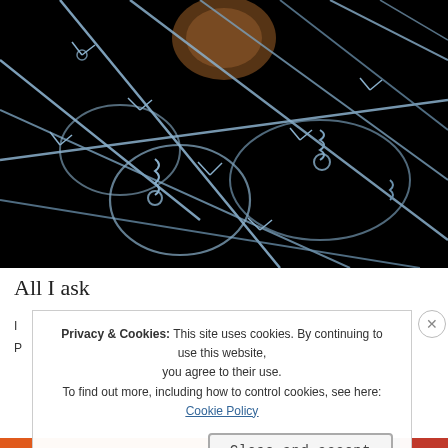[Figure (photo): Close-up photograph of barbed wire coils against a black background, with a faint brownish shape visible at the top center, suggesting a face or figure behind/through the wire. The wire is metallic blue-silver toned.]
All I ask
I
P
Privacy & Cookies: This site uses cookies. By continuing to use this website, you agree to their use.
To find out more, including how to control cookies, see here: Cookie Policy
Close and accept